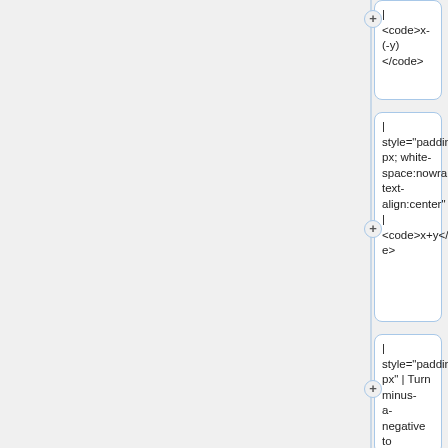| <code>x-(-y)</code>
| style="padding:5px; white-space:nowrap; text-align:center" | <code>x+y</code>
| style="padding:5px" | Turn minus-a-negative to addition.
<!---------------------------------------------------------------------------------------------------------->